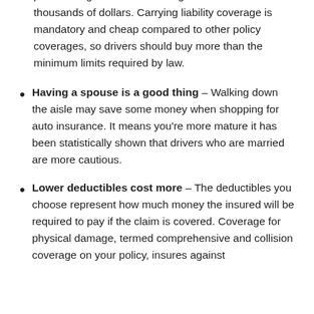provides legal defense coverage which can cost thousands of dollars. Carrying liability coverage is mandatory and cheap compared to other policy coverages, so drivers should buy more than the minimum limits required by law.
Having a spouse is a good thing – Walking down the aisle may save some money when shopping for auto insurance. It means you're more mature it has been statistically shown that drivers who are married are more cautious.
Lower deductibles cost more – The deductibles you choose represent how much money the insured will be required to pay if the claim is covered. Coverage for physical damage, termed comprehensive and collision coverage on your policy, insures against